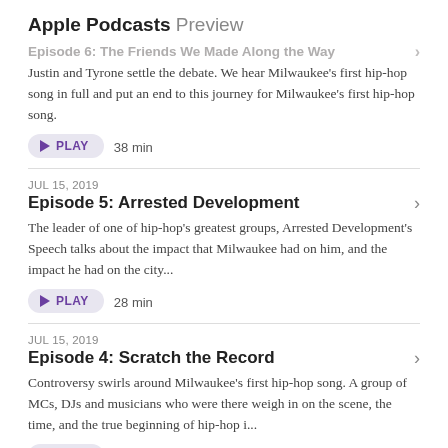Apple Podcasts Preview
Episode 6: The Friends We Made Along the Way
Justin and Tyrone settle the debate. We hear Milwaukee's first hip-hop song in full and put an end to this journey for Milwaukee's first hip-hop song.
▶ PLAY   38 min
JUL 15, 2019
Episode 5: Arrested Development
The leader of one of hip-hop's greatest groups, Arrested Development's Speech talks about the impact that Milwaukee had on him, and the impact he had on the city...
▶ PLAY   28 min
JUL 15, 2019
Episode 4: Scratch the Record
Controversy swirls around Milwaukee's first hip-hop song. A group of MCs, DJs and musicians who were there weigh in on the scene, the time, and the true beginning of hip-hop i...
▶ PLAY   28 min